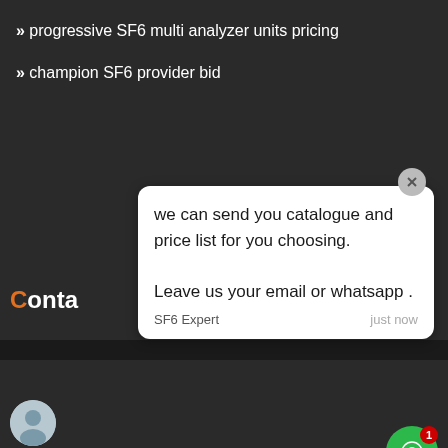» progressive SF6 multi analyzer units pricing
» champion SF6 provider bid
we can send you catalogue and price list for you choosing.
Leave us your email or whatsapp.
SF6 Expert    just now
Write a reply..
Copyright © 2020.Henan SF6Relations Co., ltd. All rights reserved. Sitemap
Leave Message
Chat Online